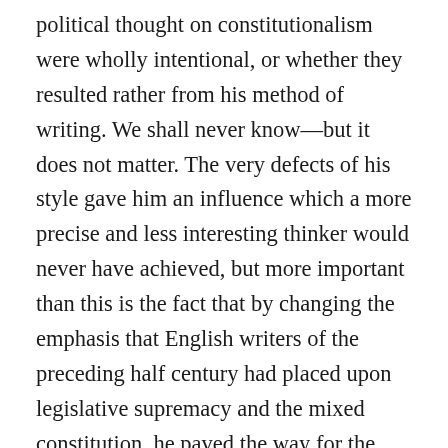political thought on constitutionalism were wholly intentional, or whether they resulted rather from his method of writing. We shall never know—but it does not matter. The very defects of his style gave him an influence which a more precise and less interesting thinker would never have achieved, but more important than this is the fact that by changing the emphasis that English writers of the preceding half century had placed upon legislative supremacy and the mixed constitution, he paved the way for the doctrine of the separation of powers to emerge again as an autonomous theory of government. This theory was to develop in very different ways in Britain, in America, and